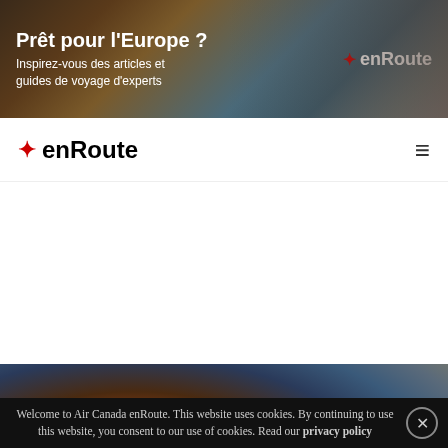[Figure (screenshot): Air Canada enRoute advertisement banner with blurred European street scene. Text reads 'Prêt pour l'Europe ? Inspirez-vous des articles et guides de voyage d'experts' with enRoute logo on right.]
enRoute
[Figure (photo): Hero image with blurred warm bokeh background in orange, brown, and teal tones. Text overlay: SHORT READ / How to Survive Your Next Camping Trip in]
Welcome to Air Canada enRoute. This website uses cookies. By continuing to use this website, you consent to our use of cookies. Read our privacy policy